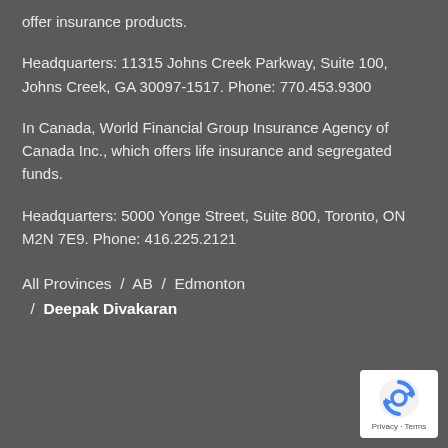offer insurance products.
Headquarters: 11315 Johns Creek Parkway, Suite 100, Johns Creek, GA 30097-1517. Phone: 770.453.9300
In Canada, World Financial Group Insurance Agency of Canada Inc., which offers life insurance and segregated funds.
Headquarters: 5000 Yonge Street, Suite 800, Toronto, ON M2N 7E9. Phone: 416.225.2121
All Provinces / AB / Edmonton / Deepak Divakaran
[Figure (logo): Google reCAPTCHA badge with recycling-arrow logo and Privacy - Terms text]